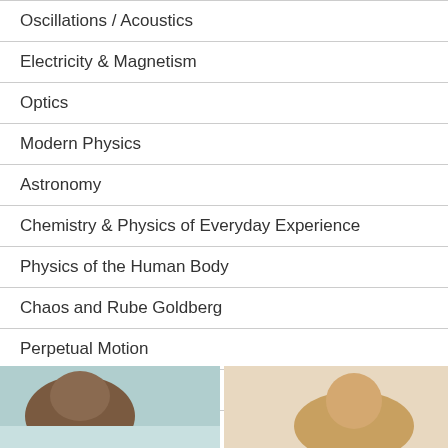Oscillations / Acoustics
Electricity & Magnetism
Optics
Modern Physics
Astronomy
Chemistry & Physics of Everyday Experience
Physics of the Human Body
Chaos and Rube Goldberg
Perpetual Motion
Facilities Support
[Figure (photo): Photo on left side, appears to show a person or object with teal/light blue background]
[Figure (photo): Photo on right side, appears to show a person or object with warm beige/tan background]